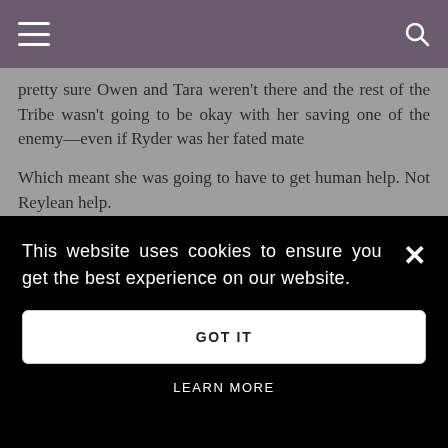pretty sure Owen and Tara weren't there and the rest of the Tribe wasn't going to be okay with her saving one of the enemy—even if Ryder was her fated mate
Which meant she was going to have to get human help. Not Reylean help.
[Figure (photo): Pink/mauve crewneck t-shirt, showing collar and upper chest area, on a grey background]
This website uses cookies to ensure you get the best experience on our website.
GOT IT
LEARN MORE